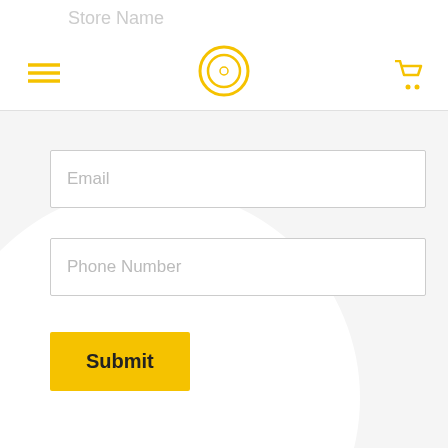Store Name
[Figure (logo): Yellow concentric circle logo in center of header]
Email
Phone Number
Submit